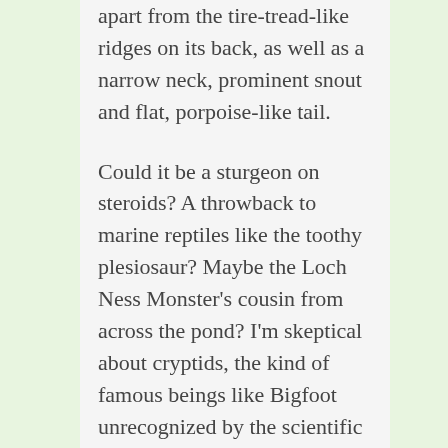apart from the tire-tread-like ridges on its back, as well as a narrow neck, prominent snout and flat, porpoise-like tail.
Could it be a sturgeon on steroids? A throwback to marine reptiles like the toothy plesiosaur? Maybe the Loch Ness Monster's cousin from across the pond? I'm skeptical about cryptids, the kind of famous beings like Bigfoot unrecognized by the scientific establishment, but the Altamaha-ha called me with a siren song, despite the likelihood of a search turning into a snipe hunt. But even if the Altamaha-ha isn't real, it could still have significance.
I grew up in Georgia and totally dug on Leonard Nimoy's "In Search of...," The Legend of Boggy Creek, and Sasquatch's guest appearances on "The Six Million Dollar Man." Somehow, I missed the